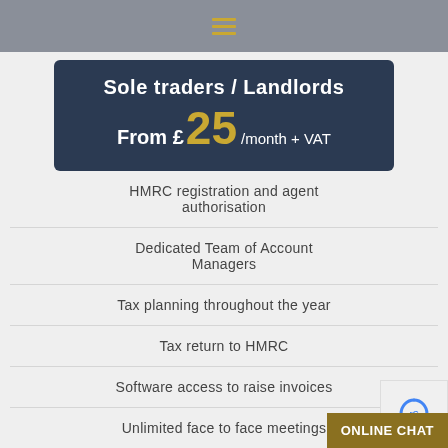≡
Sole traders / Landlords
From £25 /month + VAT
HMRC registration and agent authorisation
Dedicated Team of Account Managers
Tax planning throughout the year
Tax return to HMRC
Software access to raise invoices
Unlimited face to face meetings